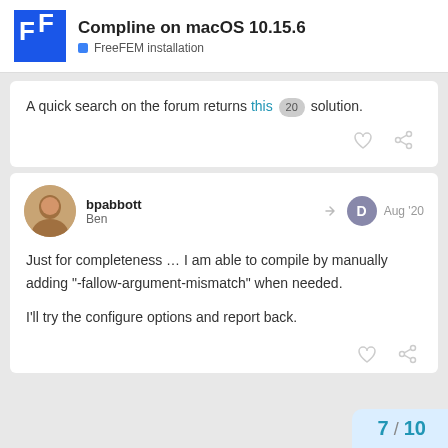Compline on macOS 10.15.6 — FreeFEM installation
A quick search on the forum returns this [20] solution.
bpabbott Ben — Aug '20
Just for completeness … I am able to compile by manually adding "-fallow-argument-mismatch" when needed.

I'll try the configure options and report back.
7 / 10